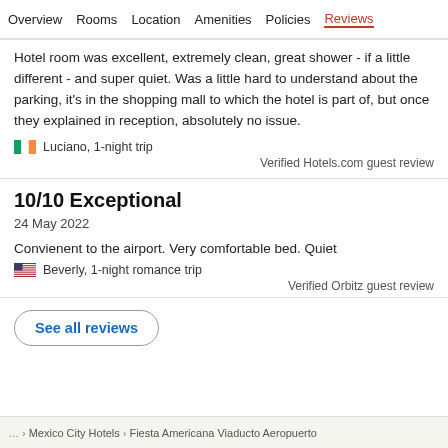Overview  Rooms  Location  Amenities  Policies  Reviews
Hotel room was excellent, extremely clean, great shower - if a little different - and super quiet. Was a little hard to understand about the parking, it's in the shopping mall to which the hotel is part of, but once they explained in reception, absolutely no issue.
Luciano, 1-night trip
Verified Hotels.com guest review
10/10 Exceptional
24 May 2022
Convienent to the airport. Very comfortable bed. Quiet
Beverly, 1-night romance trip
Verified Orbitz guest review
See all reviews
Mexico City Hotels  Fiesta Americana Viaducto Aeropuerto